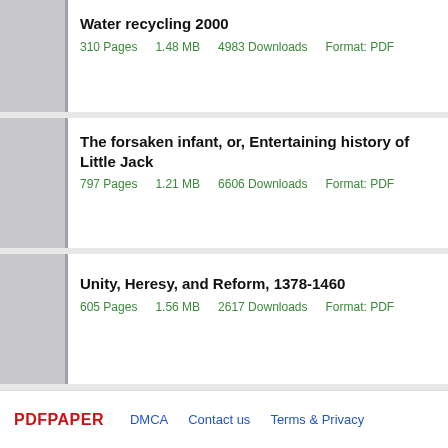Water recycling 2000
310 Pages   1.48 MB   4983 Downloads   Format: PDF
The forsaken infant, or, Entertaining history of Little Jack
797 Pages   1.21 MB   6606 Downloads   Format: PDF
Unity, Heresy, and Reform, 1378-1460
605 Pages   1.56 MB   2617 Downloads   Format: PDF
PDFPAPER   DMCA   Contact us   Terms & Privacy